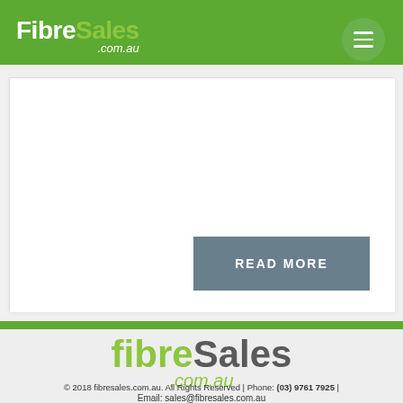FibreSales .com.au
[Figure (screenshot): Two-panel product card with left image area (white) and right content area (white) containing a READ MORE button]
[Figure (logo): FibreSales .com.au large footer logo in green and grey]
© 2018 fibresales.com.au. All Rights Reserved | Phone: (03) 9761 7925 |
Email: sales@fibresales.com.au
[Figure (other): Facebook and Twitter social media icon buttons]
[Figure (other): Scroll-to-top arrow button (green circle) and shopping cart button (green circle)]